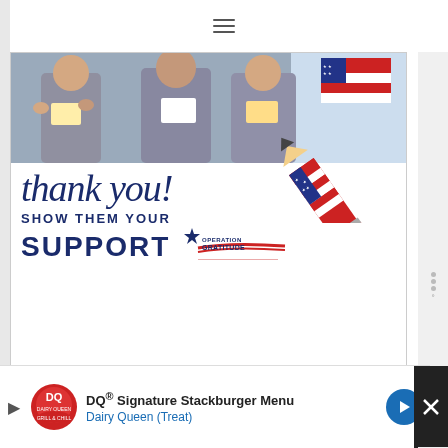[Figure (advertisement): Operation Gratitude advertisement showing children holding cards at top, handwritten-style 'Thank you!' text with a pencil graphic, and 'SHOW THEM YOUR SUPPORT' text with Operation Gratitude logo]
[Figure (advertisement): Charity advertisement showing a young boy in a classroom with text 'You can help hungry kids' overlaid at bottom]
[Figure (advertisement): Dairy Queen banner ad at bottom showing DQ logo, 'DQ® Signature Stackburger Menu' text, 'Dairy Queen (Treat)' subtitle, and navigation arrow icon]